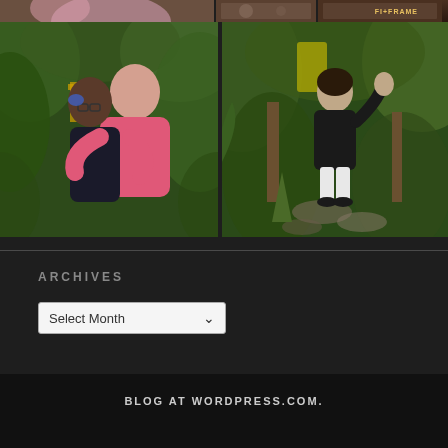[Figure (photo): Top strip of photos — left shows a person cropped, right shows two smaller photos including animals/nature thumbnail and one with a badge/frame label]
[Figure (photo): Two side-by-side photos: left shows two people hugging in a garden with green foliage, right shows a child/young person standing in a garden waving]
ARCHIVES
Select Month
BLOG AT WORDPRESS.COM.